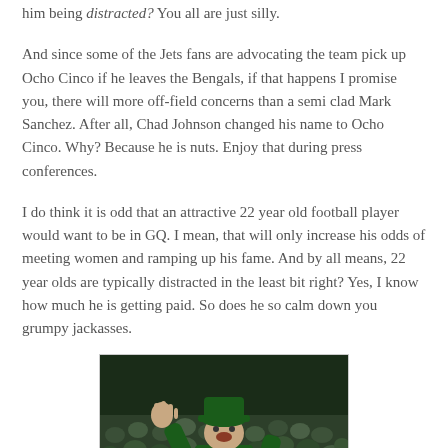him being distracted? You all are just silly.
And since some of the Jets fans are advocating the team pick up Ocho Cinco if he leaves the Bengals, if that happens I promise you, there will more off-field concerns than a semi clad Mark Sanchez. After all, Chad Johnson changed his name to Ocho Cinco. Why? Because he is nuts. Enjoy that during press conferences.
I do think it is odd that an attractive 22 year old football player would want to be in GQ. I mean, that will only increase his odds of meeting women and ramping up his fame. And by all means, 22 year olds are typically distracted in the least bit right? Yes, I know how much he is getting paid. So does he so calm down you grumpy jackasses.
[Figure (photo): A Jets fan in a #42 jersey and hat raising their hand in a crowd at a football game]